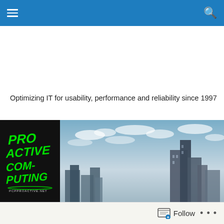Navigation header with hamburger menu and search icon
Optimizing IT for usability, performance and reliability since 1997
[Figure (logo): Proactive Computing logo on black background with green graffiti-style text reading PROACTIVE COMPUTING and URL pcpproactive.net, alongside a cityscape photo with skyscrapers under a cloudy sky]
Follow  ...